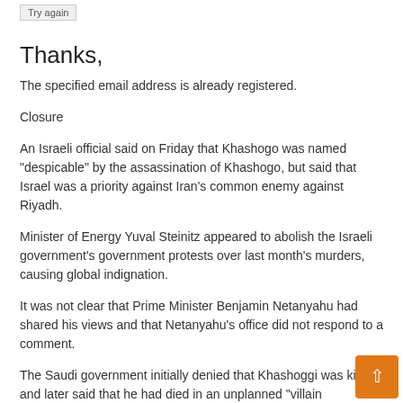[Figure (other): A grey 'Try again' button]
Thanks,
The specified email address is already registered.
Closure
An Israeli official said on Friday that Khashogo was named "despicable" by the assassination of Khashogo, but said that Israel was a priority against Iran's common enemy against Riyadh.
Minister of Energy Yuval Steinitz appeared to abolish the Israeli government's government protests over last month's murders, causing global indignation.
It was not clear that Prime Minister Benjamin Netanyahu had shared his views and that Netanyahu's office did not respond to a comment.
The Saudi government initially denied that Khashoggi was killed, and later said that he had died in an unplanned "villain operation". Last week, Saudi Al Mojeb's Royal Public Prosecutor said the attack was